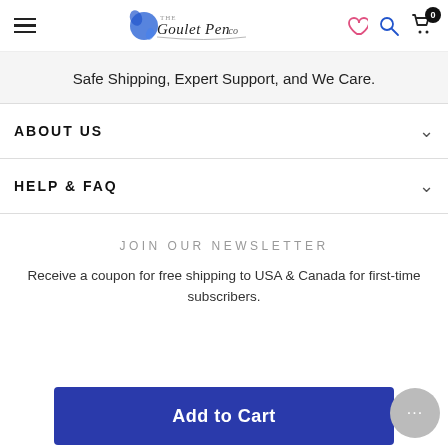The Goulet Pen Co. — navigation header with hamburger menu, logo, wishlist, search, and cart (0 items)
Safe Shipping, Expert Support, and We Care.
ABOUT US
HELP & FAQ
JOIN OUR NEWSLETTER
Receive a coupon for free shipping to USA & Canada for first-time subscribers.
Add to Cart